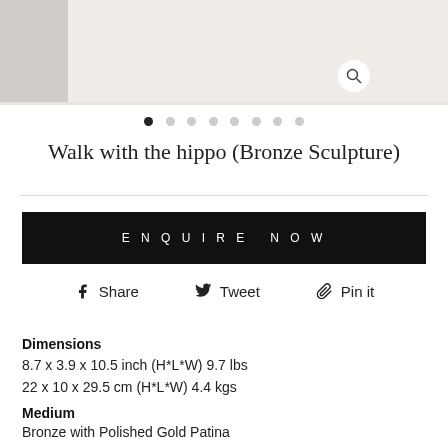[Figure (photo): Product image area showing a bronze hippopotamus sculpture with a beige/cream background, and a magnifying glass zoom icon in the lower right of the image area.]
• (navigation dots: 8 dots, first active)
Walk with the hippo (Bronze Sculpture)
ENQUIRE NOW
Share   Tweet   Pin it
Dimensions
8.7 x 3.9 x 10.5 inch (H*L*W) 9.7 lbs
22 x 10 x 29.5 cm (H*L*W) 4.4 kgs
Medium
Bronze with Polished Gold Patina